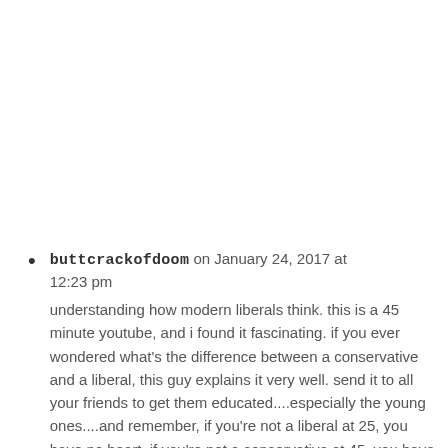buttcrackofdoom on January 24, 2017 at 12:23 pm

understanding how modern liberals think. this is a 45 minute youtube, and i found it fascinating. if you ever wondered what’s the difference between a conservative and a liberal, this guy explains it very well. send it to all your friends to get them educated....especially the young ones....and remember, if you’re not a liberal at 25, you have no heart. if you’re not a conservative at 45, you have no BRAIN.
https://www.youtube.com/watch?